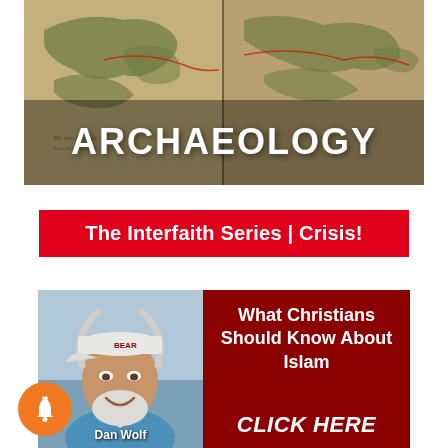[Figure (map): Ancient map image used as background for ARCHAEOLOGY heading]
ARCHAEOLOGY
[Figure (infographic): Red banner reading: The Interfaith Series | Crisis!]
[Figure (infographic): Card with photo of Dan Wolf on the left and dark red panel reading 'What Christians Should Know About Islam' and 'CLICK HERE' on the right. Bell icon button in bottom-left.]
Dan Wolf